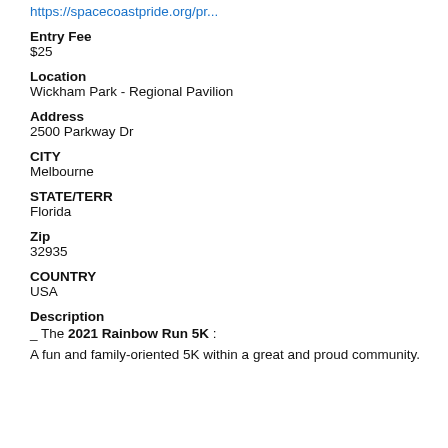https://spacecoastpride.org/pr...
Entry Fee
$25
Location
Wickham Park - Regional Pavilion
Address
2500 Parkway Dr
CITY
Melbourne
STATE/TERR
Florida
Zip
32935
COUNTRY
USA
Description
_ The 2021 Rainbow Run 5K :
A fun and family-oriented 5K within a great and proud community.